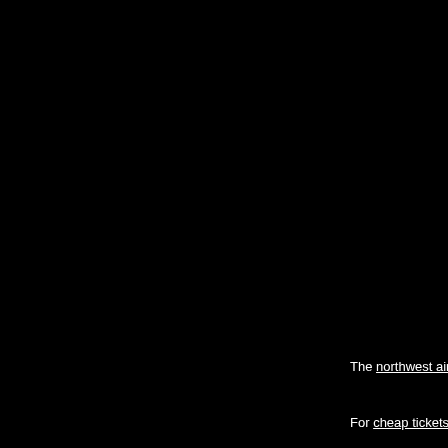The northwest airline dis
For cheap tickets delta br